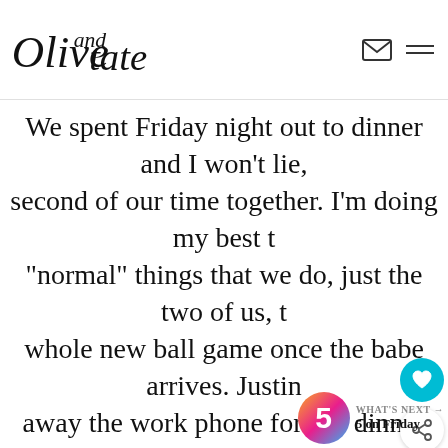Olive and Tate [logo] - navigation header with mail and menu icons
We spent Friday night out to dinner and I won't lie, second of our time together. I'm doing my best to "normal" things that we do, just the two of us, t whole new ball game once the babe arrives. Justin away the work phone for our dinner and I loved g one on one time with him. One thing's for sure, here with endless hours. And speaking of endle some time Saturday at his office but since it's outside, I didn't mind one bit. I spent the aftern watching bad TV (another thing I'm when my sweet screaming bundle a